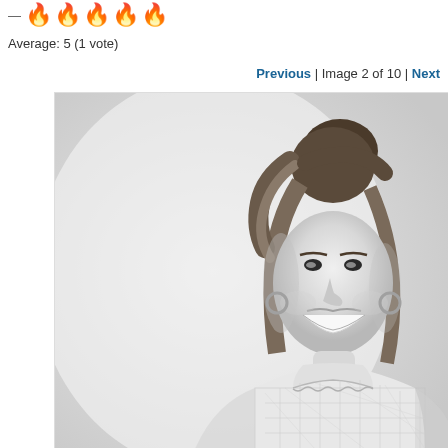— 🔥🔥🔥🔥🔥
Average: 5 (1 vote)
Previous | Image 2 of 10 | Next
[Figure (photo): Black and white photo of a smiling woman with blonde hair styled up, wearing a white lace high-neck dress, hoop earrings, photographed against a light background.]